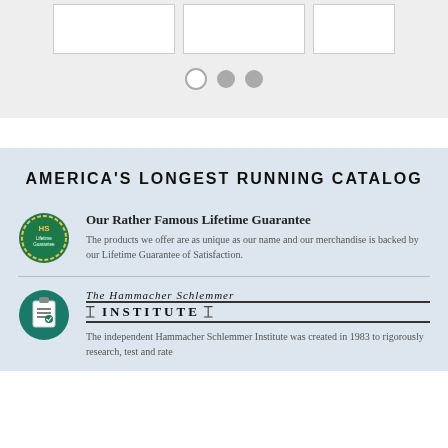[Figure (screenshot): Three white product card placeholders in a gray carousel section with pagination dots below]
AMERICA'S LONGEST RUNNING CATALOG
[Figure (logo): HS Lifetime Guarantee circular green badge icon]
Our Rather Famous Lifetime Guarantee
The products we offer are as unique as our name and our merchandise is backed by our Lifetime Guarantee of Satisfaction.
[Figure (logo): Hammacher Schlemmer Institute clipboard/checklist icon]
The Hammacher Schlemmer INSTITUTE
The independent Hammacher Schlemmer Institute was created in 1983 to rigorously research, test and rate